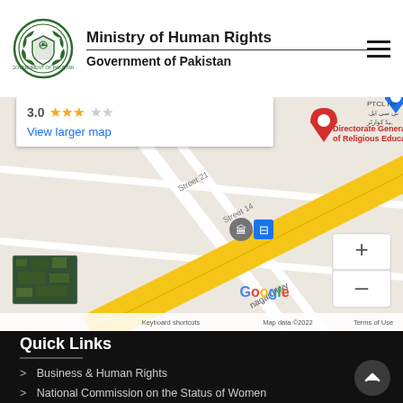Ministry of Human Rights
Government of Pakistan
[Figure (map): Google Maps screenshot showing location near Directorate General of Religious Education, with street labels Street 21 and Street 14, a yellow highway (Srinagar Hwy), rating 3.0 stars, zoom controls, and satellite thumbnail. Map data ©2022.]
Quick Links
> Business & Human Rights
> National Commission on the Status of Women